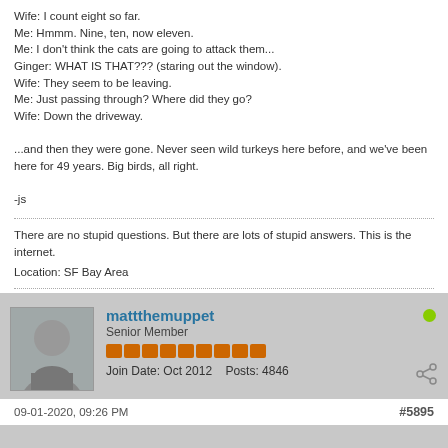Wife: I count eight so far.
Me: Hmmm. Nine, ten, now eleven.
Me: I don't think the cats are going to attack them...
Ginger: WHAT IS THAT??? (staring out the window).
Wife: They seem to be leaving.
Me: Just passing through? Where did they go?
Wife: Down the driveway.

...and then they were gone. Never seen wild turkeys here before, and we've been here for 49 years. Big birds, all right.

-js
There are no stupid questions. But there are lots of stupid answers. This is the internet.

Location: SF Bay Area
mattthemuppet
Senior Member
Join Date: Oct 2012  Posts: 4846
09-01-2020, 09:26 PM
#5895